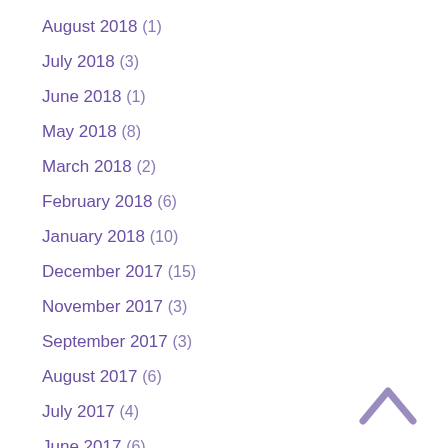August 2018 (1)
July 2018 (3)
June 2018 (1)
May 2018 (8)
March 2018 (2)
February 2018 (6)
January 2018 (10)
December 2017 (15)
November 2017 (3)
September 2017 (3)
August 2017 (6)
July 2017 (4)
June 2017 (6)
May 2017 (5)
[Figure (illustration): Upward chevron/caret icon in muted purple color, used as a scroll-to-top button]